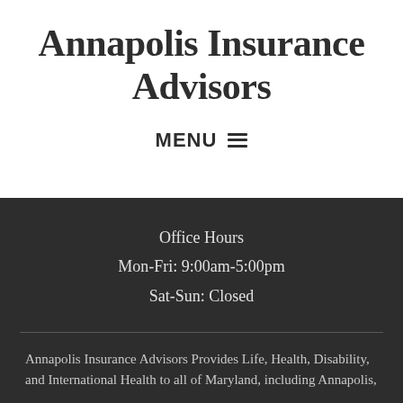Annapolis Insurance Advisors
MENU ☰
Office Hours
Mon-Fri: 9:00am-5:00pm
Sat-Sun: Closed
Annapolis Insurance Advisors Provides Life, Health, Disability, and International Health to all of Maryland, including Annapolis,